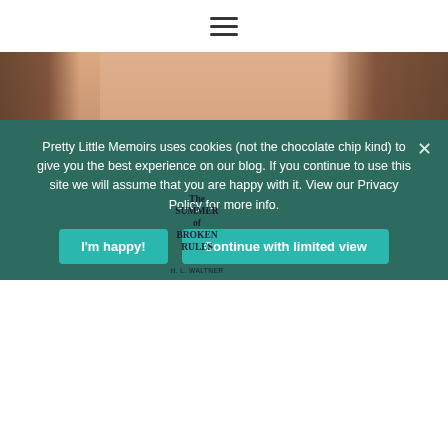[Figure (other): Hamburger menu icon (three horizontal lines)]
[Figure (photo): Video thumbnail of a person holding three books: 'Kisses and Croissants', 'The Summer of Broken Rules' by H.L. Waltner, and 'Some Mistakes Were Made' by Kristin Dwyer. A white play button triangle is centered on the image.]
Pretty Little Memoirs uses cookies (not the chocolate chip kind) to give you the best experience on our blog. If you continue to use this site we will assume that you are happy with it. View our Privacy Policy for more info.
I'm happy!
Continue with limited view